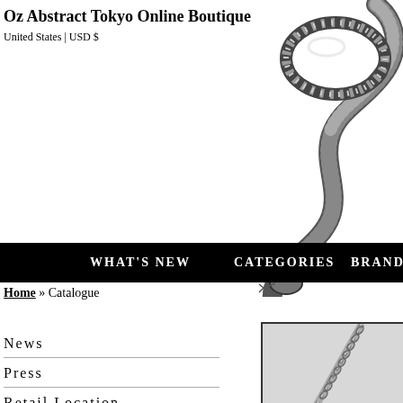Oz Abstract Tokyo Online Boutique
United States | USD $
[Figure (illustration): Illustrated serpent/snake coiled around a ring or horn, detailed line art in black and white]
WHAT'S NEW   CATEGORIES   BRANDS
Home » Catalogue
News
Press
Retail Location
About us
Contact us
Policy
[Figure (photo): Close-up photo of a silver chain necklace on a light gray background]